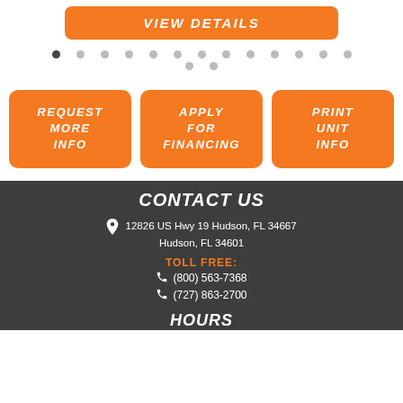[Figure (screenshot): Orange rounded 'VIEW DETAILS' button centered at top]
[Figure (infographic): Two rows of navigation dots, first row has 13 dots with first one filled/dark, second row has 2 dots]
[Figure (infographic): Three orange rounded action buttons: REQUEST MORE INFO, APPLY FOR FINANCING, PRINT UNIT INFO]
CONTACT US
12826 US Hwy 19 Hudson, FL 34667
Hudson, FL 34601
TOLL FREE:
(800) 563-7368
(727) 863-2700
HOURS